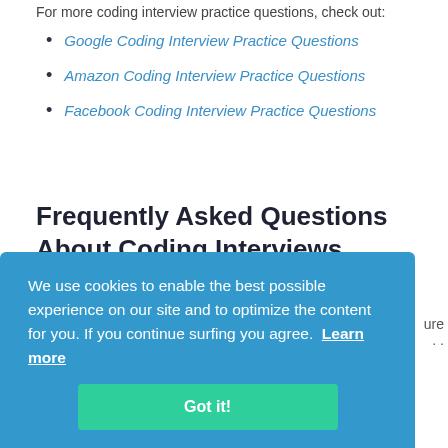For more coding interview practice questions, check out:
Google Coding Interview Practice Questions
Amazon Coding Interview Practice Questions
Facebook Coding Interview Practice Questions
Frequently Asked Questions About Coding Interviews
We use cookies to enable the best possible experience on our site and to optimize the content for you. If you continue surfing you agree. Learn more
Got it!